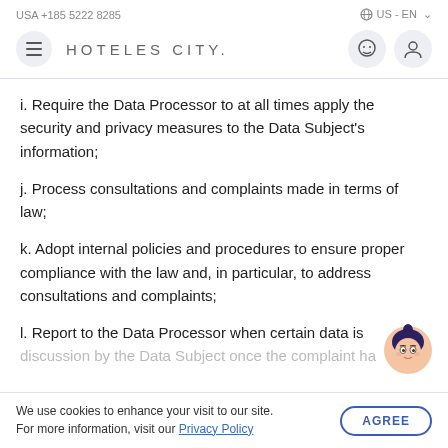USA +185 5222 8285   US - EN
HOTELES CITY.
i. Require the Data Processor to at all times apply the security and privacy measures to the Data Subject's information;
j. Process consultations and complaints made in terms of law;
k. Adopt internal policies and procedures to ensure proper compliance with the law and, in particular, to address consultations and complaints;
l. Report to the Data Processor when certain data is discussion by the Data Subject once the complaint ha…
We use cookies to enhance your visit to our site. For more information, visit our Privacy Policy